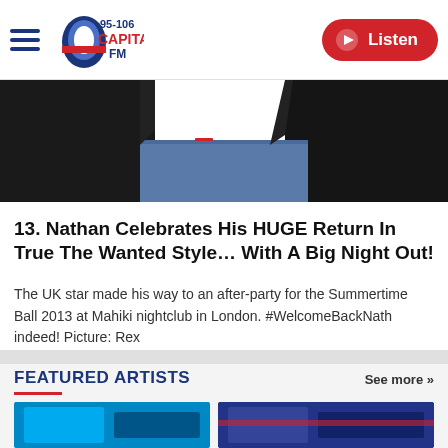Capital FM 95-106 | Listen
[Figure (photo): Close-up photo of a person in a white t-shirt and dark jacket/jeans, cropped to show torso area]
13. Nathan Celebrates His HUGE Return In True The Wanted Style… With A Big Night Out!
The UK star made his way to an after-party for the Summertime Ball 2013 at Mahiki nightclub in London. #WelcomeBackNath indeed! Picture: Rex
FEATURED ARTISTS
See more »
[Figure (photo): Featured artist card with blue background]
[Figure (photo): Featured artist card with dark blue background]